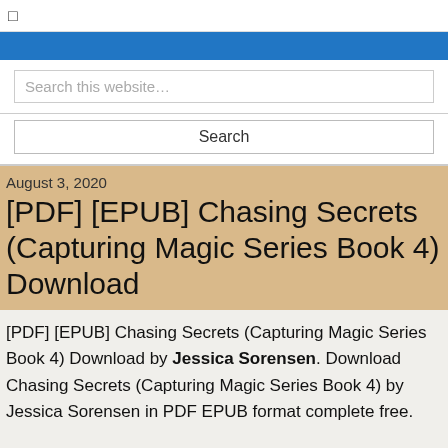☐
Search this website…
Search
August 3, 2020
[PDF] [EPUB] Chasing Secrets (Capturing Magic Series Book 4) Download
[PDF] [EPUB] Chasing Secrets (Capturing Magic Series Book 4) Download by Jessica Sorensen. Download Chasing Secrets (Capturing Magic Series Book 4) by Jessica Sorensen in PDF EPUB format complete free.